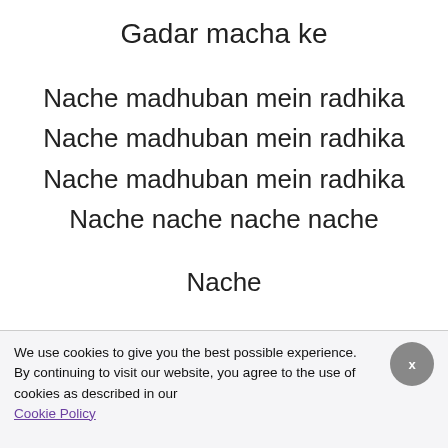Gadar macha ke
Nache madhuban mein radhika
Nache madhuban mein radhika
Nache madhuban mein radhika
Nache nache nache nache
Nache
We use cookies to give you the best possible experience. By continuing to visit our website, you agree to the use of cookies as described in our Cookie Policy